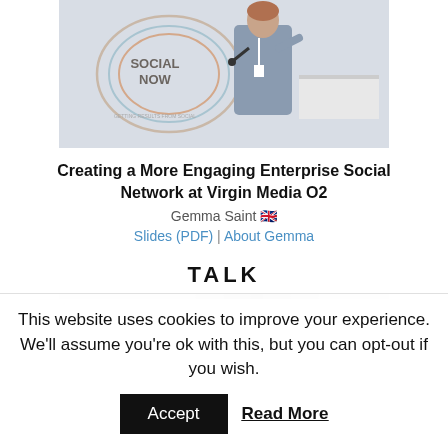[Figure (photo): A woman speaking on stage in front of a 'Social Now – Getting Results from Social' branded backdrop, holding a microphone and gesturing with her hand.]
Creating a More Engaging Enterprise Social Network at Virgin Media O2
Gemma Saint 🇬🇧
Slides (PDF) | About Gemma
TALK
This website uses cookies to improve your experience. We'll assume you're ok with this, but you can opt-out if you wish.  Accept  Read More